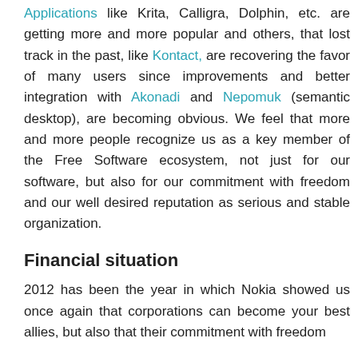Applications like Krita, Calligra, Dolphin, etc. are getting more and more popular and others, that lost track in the past, like Kontact, are recovering the favor of many users since improvements and better integration with Akonadi and Nepomuk (semantic desktop), are becoming obvious. We feel that more and more people recognize us as a key member of the Free Software ecosystem, not just for our software, but also for our commitment with freedom and our well desired reputation as serious and stable organization.
Financial situation
2012 has been the year in which Nokia showed us once again that corporations can become your best allies, but also that their commitment with freedom